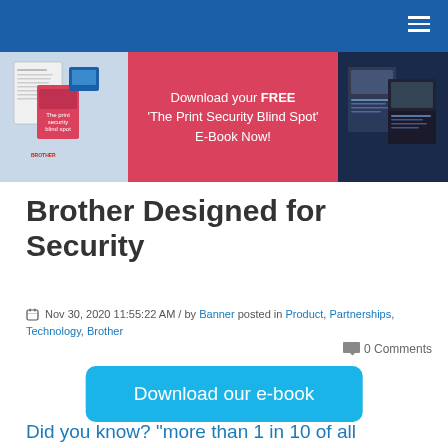Navigation bar with hamburger menu
[Figure (illustration): Banner advertisement: Download your FREE 'The Print Security Blind Spot' E-Book Now! with book cover images on left and right sides on a pink/red background]
Brother Designed for Security
Nov 30, 2020 11:55:22 AM / by Banner posted in Product, Partnerships, Technology, Brother
0 Comments
Download our e-book
Did you know? "more than 1 in 10 of all security incidents that affect busi...